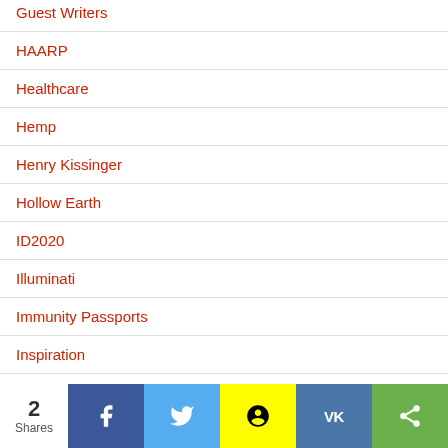Guest Writers
HAARP
Healthcare
Hemp
Henry Kissinger
Hollow Earth
ID2020
Illuminati
Immunity Passports
Inspiration
Inspirational Public Figures
Internet of Things
2 Shares